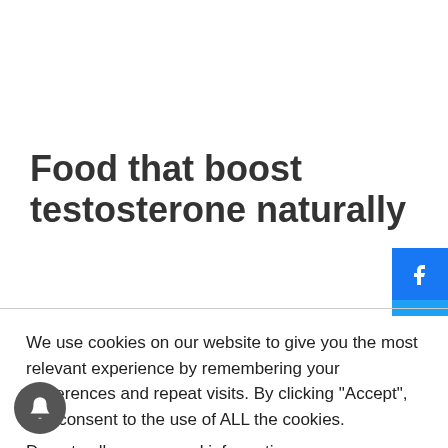Food that boost testosterone naturally
[Figure (infographic): Social media share buttons: Facebook (blue), Twitter (blue), YouTube (red), partially visible fourth button]
We use cookies on our website to give you the most relevant experience by remembering your preferences and repeat visits. By clicking “Accept”, you consent to the use of ALL the cookies.
Do not sell my personal information.
Cookie Settings   Accept